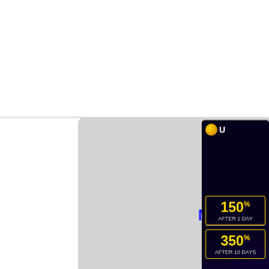[Figure (screenshot): Screenshot of a HYIP monitoring website with search bar and navigation buttons]
Monitoring, rating and advertising HYIP.
Search program: writ
ADD BANNER
ADD LISTING
NEW PROGRAMS
[Figure (advertisement): Conice ad: Earn Up to Daily Profit 2.7%]
[Figure (advertisement): Uranus mining ad: 150% after 1 day, 200% after 5 days]
[Figure (advertisement): Right side ad: 150% after 1 day, 350% after 10 days]
[Figure (advertisement): Right bottom ad: PROFIT MO...]